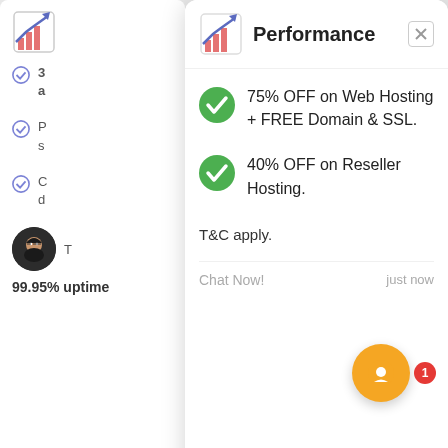[Figure (screenshot): Chat widget popup overlay on a web hosting page. The popup shows a header with 'Performance' title and close button, two offer items with green checkmarks: '75% OFF on Web Hosting + FREE Domain & SSL.' and '40% OFF on Reseller Hosting.', followed by 'T&C apply.', a 'Chat Now!' message with 'just now' timestamp, and a text input area with icons. Behind the popup is a partially visible web page with performance-related checklist items. A chat bubble button with orange background and red badge showing '1' is visible at bottom right.]
Performance
75% OFF on Web Hosting + FREE Domain & SSL.
40% OFF on Reseller Hosting.
T&C apply.
Chat Now!
just now
Type here and press enter..